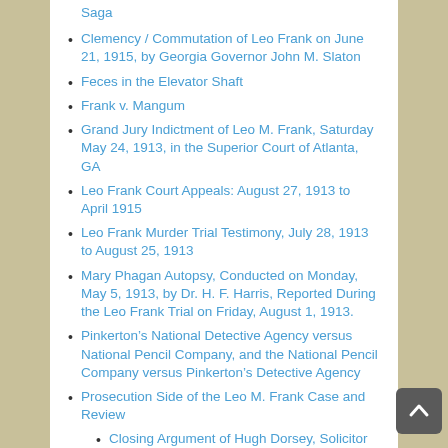Saga
Clemency / Commutation of Leo Frank on June 21, 1915, by Georgia Governor John M. Slaton
Feces in the Elevator Shaft
Frank v. Mangum
Grand Jury Indictment of Leo M. Frank, Saturday May 24, 1913, in the Superior Court of Atlanta, GA
Leo Frank Court Appeals: August 27, 1913 to April 1915
Leo Frank Murder Trial Testimony, July 28, 1913 to August 25, 1913
Mary Phagan Autopsy, Conducted on Monday, May 5, 1913, by Dr. H. F. Harris, Reported During the Leo Frank Trial on Friday, August 1, 1913.
Pinkerton’s National Detective Agency versus National Pencil Company, and the National Pencil Company versus Pinkerton’s Detective Agency
Prosecution Side of the Leo M. Frank Case and Review
Closing Argument of Hugh Dorsey, Solicitor General for Atlanta Circuit
Hair